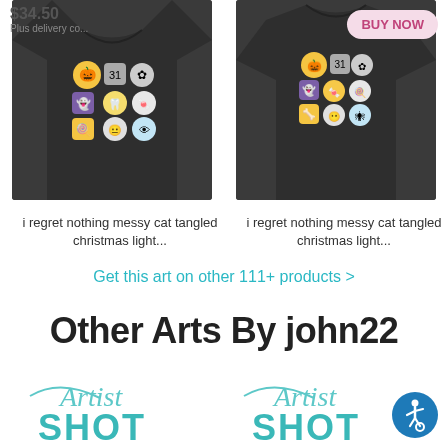[Figure (screenshot): Screenshot of an e-commerce product page showing two dark t-shirts with Halloween emoji sticker designs. Left shirt shows price $34.50 and 'Plus delivery co...' text. Right shirt shows a 'BUY NOW' button.]
i regret nothing messy cat tangled christmas light...
i regret nothing messy cat tangled christmas light...
Get this art on other 111+ products >
Other Arts By john22
[Figure (logo): Artist Shot logo bottom left - cursive 'Artist' text above bold 'SHOT' in teal/cyan color]
[Figure (logo): Artist Shot logo bottom right - cursive 'Artist' text above bold 'SHOT' in teal/cyan color]
[Figure (other): Accessibility icon button - blue circle with wheelchair user symbol, bottom right corner]